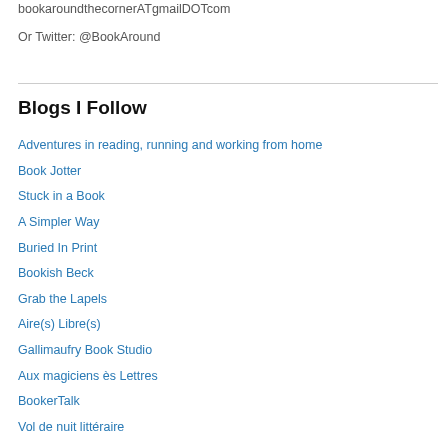bookaroundthecornerATgmailDOTcom
Or Twitter: @BookAround
Blogs I Follow
Adventures in reading, running and working from home
Book Jotter
Stuck in a Book
A Simpler Way
Buried In Print
Bookish Beck
Grab the Lapels
Aire(s) Libre(s)
Gallimaufry Book Studio
Aux magiciens ès Lettres
BookerTalk
Vol de nuit littéraire
The Pine-Scented Chronicles